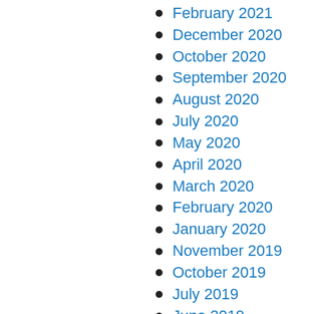February 2021
December 2020
October 2020
September 2020
August 2020
July 2020
May 2020
April 2020
March 2020
February 2020
January 2020
November 2019
October 2019
July 2019
June 2019
May 2019
April 2019
March 2019
February 2019